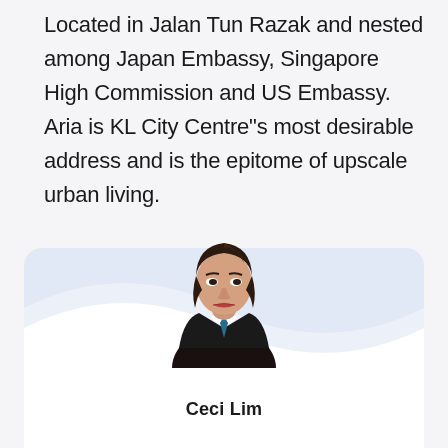Located in Jalan Tun Razak and nested among Japan Embassy, Singapore High Commission and US Embassy. Aria is KL City Centre"s most desirable address and is the epitome of upscale urban living.
[Figure (photo): Portrait photo of a young woman named Ceci Lim in a black blazer with a blue tie, displayed in a white card with decorative wing/wave background design.]
Ceci Lim